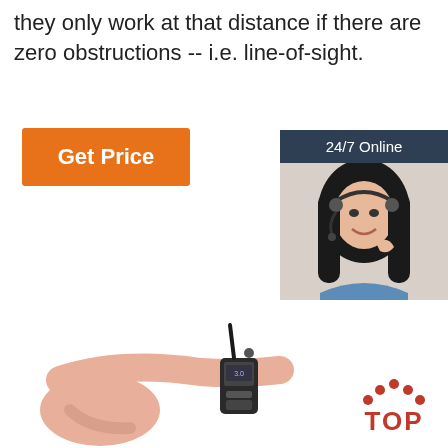they only work at that distance if there are zero obstructions -- i.e. line-of-sight.
[Figure (other): Orange 'Get Price' button]
[Figure (other): Dark sidebar with '24/7 Online' header, photo of woman with headset, 'Click here for free chat!' text, and orange 'QUOTATION' button]
[Figure (other): Dark 'Small Size' label box]
[Figure (other): Hand pointing at a small walkie-talkie device, with a red 'TOP' logo with dots in the bottom right]